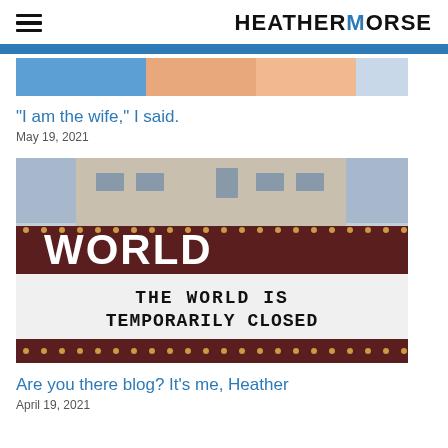HEATHERMORSE
[Figure (photo): Partial top of a blog post image showing salmon/blue colors, cropped at top of page]
"I am the wife," I said.
May 19, 2021
[Figure (photo): Theater marquee sign reading 'WORLD' with lights, and a marquee board saying 'THE WORLD IS TEMPORARILY CLOSED']
Are you there blog? It's me, Heather
April 19, 2021